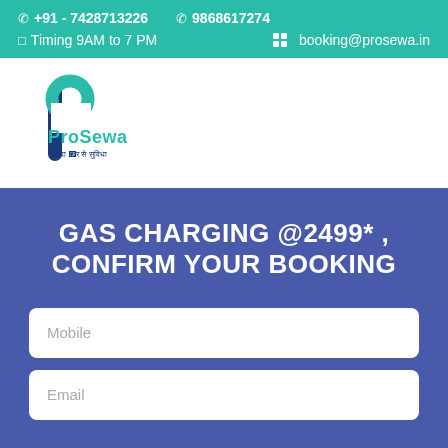☎ +91 - 7428713226   ☎ 9868617274   ☐ Timing 9AM to 7 PM   ✉ booking@prosewa.in
[Figure (logo): ProSewa logo — stylized letter P in teal and navy blue, with text 'ProSewa' in teal and a Hindi tagline below in navy]
GAS CHARGING @2499* , CONFIRM YOUR BOOKING
Mobile
Email